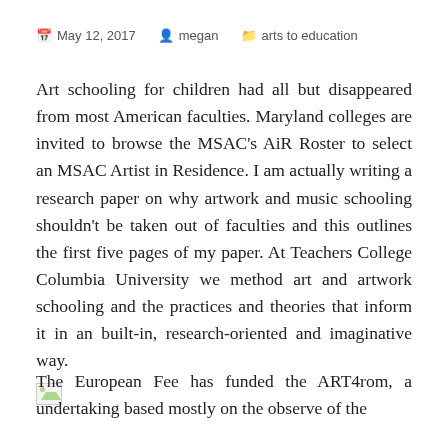May 12, 2017  megan  arts to education
Art schooling for children had all but disappeared from most American faculties. Maryland colleges are invited to browse the MSAC's AiR Roster to select an MSAC Artist in Residence. I am actually writing a research paper on why artwork and music schooling shouldn't be taken out of faculties and this outlines the first five pages of my paper. At Teachers College Columbia University we method art and artwork schooling and the practices and theories that inform it in an built-in, research-oriented and imaginative way.
[Figure (illustration): Broken/placeholder image icon]
The European Fee has funded the ART4rom, a undertaking based mostly on the observe of the